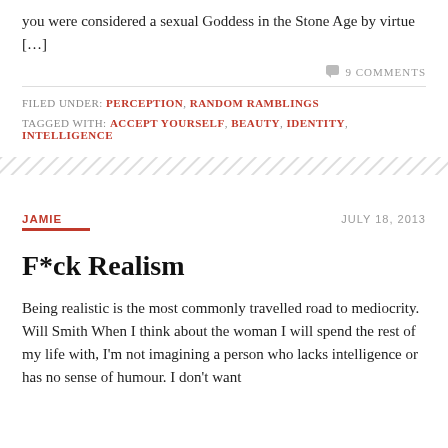you were considered a sexual Goddess in the Stone Age by virtue […]
9 COMMENTS
FILED UNDER: PERCEPTION, RANDOM RAMBLINGS
TAGGED WITH: ACCEPT YOURSELF, BEAUTY, IDENTITY, INTELLIGENCE
JAMIE
JULY 18, 2013
F*ck Realism
Being realistic is the most commonly travelled road to mediocrity. Will Smith When I think about the woman I will spend the rest of my life with, I'm not imagining a person who lacks intelligence or has no sense of humour. I don't want